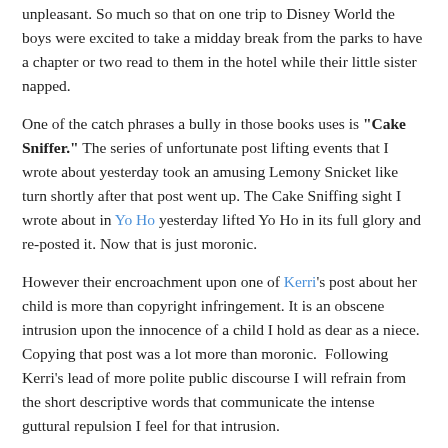unpleasant. So much so that on one trip to Disney World the boys were excited to take a midday break from the parks to have a chapter or two read to them in the hotel while their little sister napped.
One of the catch phrases a bully in those books uses is "Cake Sniffer." The series of unfortunate post lifting events that I wrote about yesterday took an amusing Lemony Snicket like turn shortly after that post went up. The Cake Sniffing sight I wrote about in Yo Ho yesterday lifted Yo Ho in its full glory and re-posted it. Now that is just moronic.
However their encroachment upon one of Kerri's post about her child is more than copyright infringement. It is an obscene intrusion upon the innocence of a child I hold as dear as a niece. Copying that post was a lot more than moronic.  Following Kerri's lead of more polite public discourse I will refrain from the short descriptive words that communicate the intense guttural repulsion I feel for that intrusion.
I have been asked in emails about this site. I don't link it because beyond giving it any sense of dignity links to a site